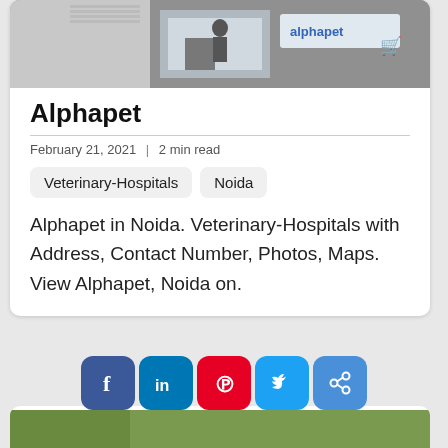[Figure (photo): Storefront exterior showing the Alphapet logo and signage with a person visible]
Alphapet
February 21, 2021  |  2 min read
Veterinary-Hospitals
Noida
Alphapet in Noida. Veterinary-Hospitals with Address, Contact Number, Photos, Maps. View Alphapet, Noida on.
[Figure (infographic): Social media sharing icons: Facebook, LinkedIn, Pinterest, Twitter, Share]